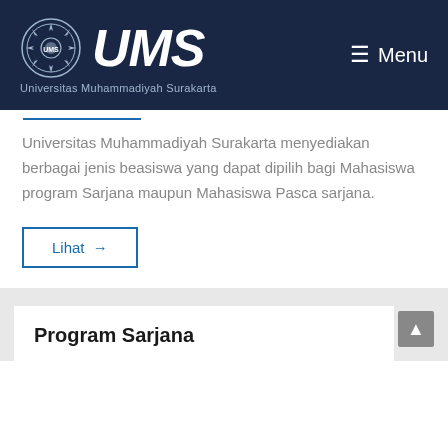UMS — Universitas Muhammadiyah Surakarta — Menu
Universitas Muhammadiyah Surakarta menyediakan berbagai jenis beasiswa yang dapat dipilih bagi Mahasiswa program Sarjana maupun Mahasiswa Pasca sarjana.
Lihat →
Program Sarjana